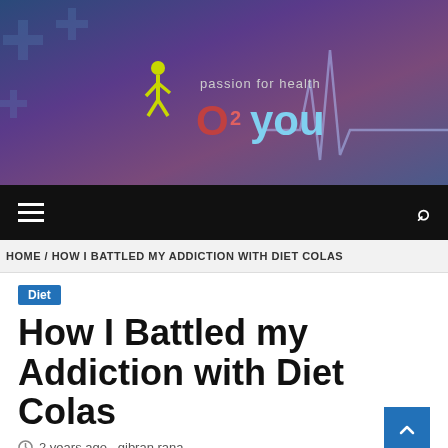[Figure (logo): O2 You - passion for health website banner with runner icon, medical crosses, and ECG line on blue-purple gradient background]
≡  🔍
HOME / HOW I BATTLED MY ADDICTION WITH DIET COLAS
Diet
How I Battled my Addiction with Diet Colas
2 years ago  gibran rana